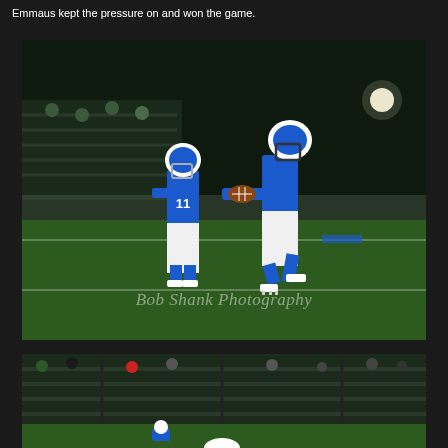Emmaus kept the pressure on and won the game.
[Figure (photo): Night football game photo showing two players in blue and white uniforms (number 11 quarterback handing off to a running back) on a green turf field with bleachers in background. Watermark reads 'Bob Shank Photography'.]
[Figure (photo): Partial photo at bottom showing bleachers with spectators and players on the field at night, cropped.]